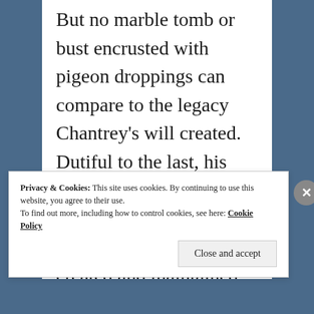But no marble tomb or bust encrusted with pigeon droppings can compare to the legacy Chantrey's will created. Dutiful to the last, his widow left behind his fortune for the benefit of others. This bequest created and maintained England's marvelous Tate Museum, an effort which continues to this day.
Privacy & Cookies: This site uses cookies. By continuing to use this website, you agree to their use. To find out more, including how to control cookies, see here: Cookie Policy
Close and accept